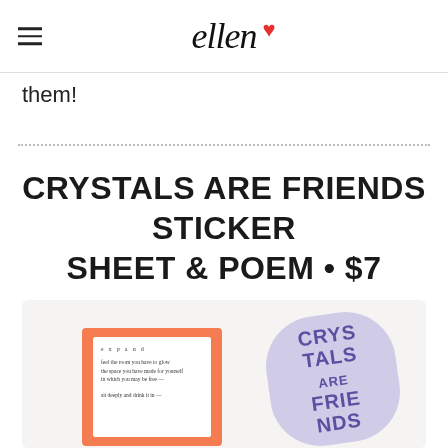ellen
them!
CRYSTALS ARE FRIENDS STICKER SHEET & POEM • $7
[Figure (photo): Product image showing a Crystals Are Friends sticker sheet and poem card. The poem card has an orange border and contains a poem titled 'expand'. A purple sticker with 'CRYSTALS ARE FRIENDS' text is visible overlapping the poem card.]